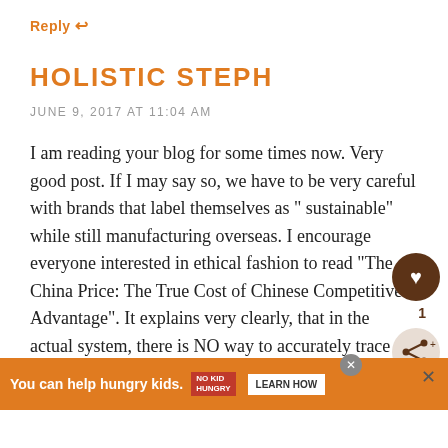Reply ↩
HOLISTIC STEPH
JUNE 9, 2017 AT 11:04 AM
I am reading your blog for some times now. Very good post. If I may say so, we have to be very careful with brands that label themselves as " sustainable" while still manufacturing overseas. I encourage everyone interested in ethical fashion to read "The China Price: The True Cost of Chinese Competitive Advantage". It explains very clearly, that in the actual system, there is NO way to accurately trace the original manufacture of garments. So while some companies have established decent" standards in their factories overseas, there is no way for them to guarantee the products are indeed m...
[Figure (other): Like/heart button with count of 1 and share button overlay]
[Figure (infographic): Ad banner: You can help hungry kids. No Kid Hungry. Learn How.]